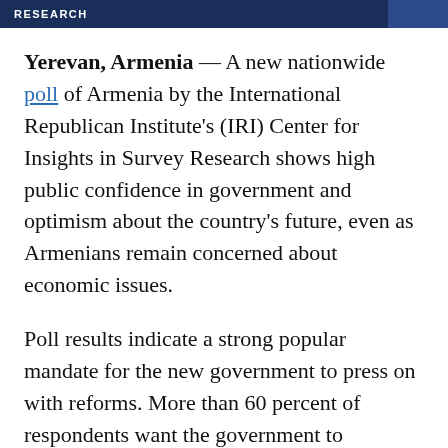RESEARCH
Yerevan, Armenia — A new nationwide poll of Armenia by the International Republican Institute's (IRI) Center for Insights in Survey Research shows high public confidence in government and optimism about the country's future, even as Armenians remain concerned about economic issues.
Poll results indicate a strong popular mandate for the new government to press on with reforms. More than 60 percent of respondents want the government to undertake both political and economic reforms quickly rather than gradually.